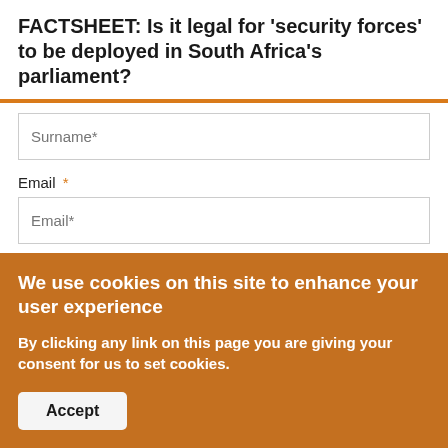FACTSHEET: Is it legal for 'security forces' to be deployed in South Africa's parliament?
Surname*
Email *
Email*
Get Code
Add new comment
We use cookies on this site to enhance your user experience
By clicking any link on this page you are giving your consent for us to set cookies.
Accept